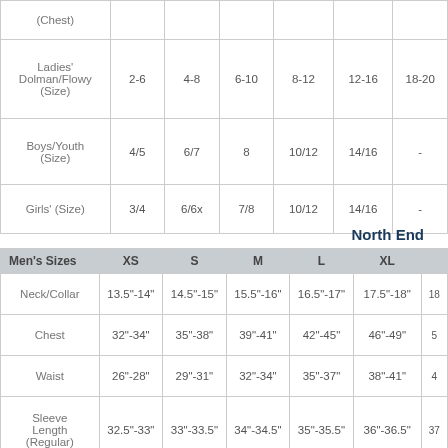|  | XS | S | M | L | XL | 2XL+ |
| --- | --- | --- | --- | --- | --- | --- |
| (Chest) |  |  |  |  |  |  |
| Ladies' Dolman/Flowy (Size) | 2-6 | 4-8 | 6-10 | 8-12 | 12-16 | 18-20 |
| Boys/Youth (Size) | 4/5 | 6/7 | 8 | 10/12 | 14/16 | - |
| Girls' (Size) | 3/4 | 6/6x | 7/8 | 10/12 | 14/16 | - |
North End
| Men's Sizes | XS | S | M | L | XL | 2XL+ |
| --- | --- | --- | --- | --- | --- | --- |
| Neck/Collar | 13.5"-14" | 14.5"-15" | 15.5"-16" | 16.5"-17" | 17.5"-18" | 18+ |
| Chest | 32"-34" | 35"-38" | 39"-41" | 42"-45" | 46"-49" | 50+ |
| Waist | 26"-28" | 29"-31" | 32"-34" | 35"-37" | 38"-41" | 42+ |
| Sleeve Length (Regular) | 32.5"-33" | 33"-33.5" | 34"-34.5" | 35"-35.5" | 36"-36.5" | 37+ |